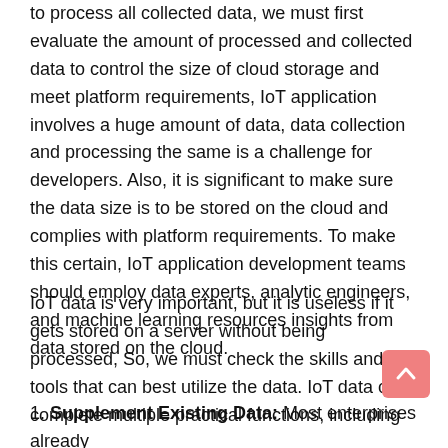to process all collected data, we must first evaluate the amount of processed and collected data to control the size of cloud storage and meet platform requirements, IoT application involves a huge amount of data, data collection and processing the same is a challenge for developers. Also, it is significant to make sure the data size is to be stored on the cloud and complies with platform requirements. To make this certain, IoT application development teams should employ data experts, analytic engineers, and machine learning resources insights from data stored on the cloud.
IoT data is very important, but it is useless if it gets stored on a server without being processed, So, we must check the skills and tools that can best utilize the data. IoT data can complete multiple practical functions, including
1. Supplement Existing Data: Most enterprises already